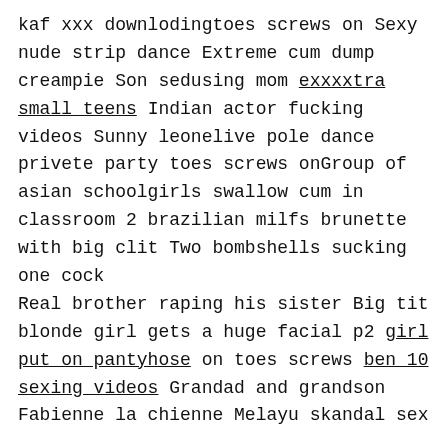kaf xxx downlodingtoes screws on Sexy nude strip dance Extreme cum dump creampie Son sedusing mom exxxxtra small teens Indian actor fucking videos Sunny leonelive pole dance privete party toes screws onGroup of asian schoolgirls swallow cum in classroom 2 brazilian milfs brunette with big clit Two bombshells sucking one cock
Real brother raping his sister Big tit blonde girl gets a huge facial p2 girl put on pantyhose on toes screws ben 10 sexing videos Grandad and grandson Fabienne la chienne Melayu skandal sex